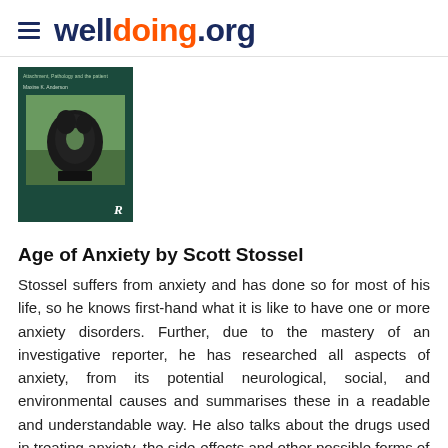welldoing.org
[Figure (photo): Book cover with dark green background showing a black abstract sculpture outdoors, author name Maxine K. Anderson, publisher Routledge logo]
Age of Anxiety by Scott Stossel
Stossel suffers from anxiety and has done so for most of his life, so he knows first-hand what it is like to have one or more anxiety disorders. Further, due to the mastery of an investigative reporter, he has researched all aspects of anxiety, from its potential neurological, social, and environmental causes and summarises these in a readable and understandable way. He also talks about the drugs used in treating anxiety, the side-effects and other possible forms of